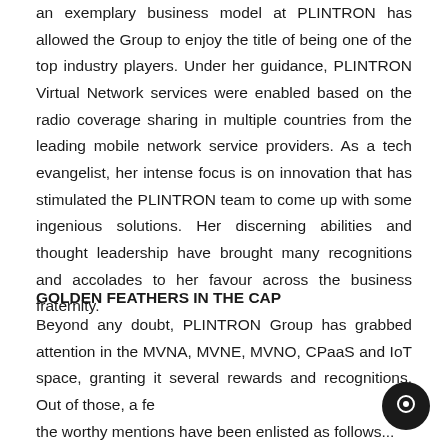an exemplary business model at PLINTRON has allowed the Group to enjoy the title of being one of the top industry players. Under her guidance, PLINTRON Virtual Network services were enabled based on the radio coverage sharing in multiple countries from the leading mobile network service providers. As a tech evangelist, her intense focus is on innovation that has stimulated the PLINTRON team to come up with some ingenious solutions. Her discerning abilities and thought leadership have brought many recognitions and accolades to her favour across the business fraternity.
GOLDEN FEATHERS IN THE CAP
Beyond any doubt, PLINTRON Group has grabbed attention in the MVNA, MVNE, MVNO, CPaaS and IoT space, granting it several rewards and recognitions. Out of those, a few the worthy mentions have been enlisted as follows...